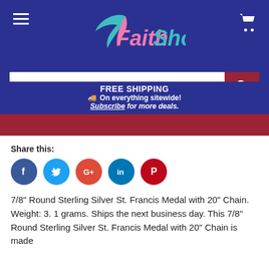[Figure (logo): FaithShop logo with angel wing in pink and teal colors on dark blue background]
What are you looking for?
FREE SHIPPING
On everything sitewide! Subscribe for more deals.
Share this:
[Figure (infographic): Social media share buttons: Facebook, Twitter, Google+, LinkedIn, Pinterest]
7/8" Round Sterling Silver St. Francis Medal with 20" Chain. Weight: 3.1 grams. Ships the next business day. This 7/8" Round Sterling Silver St. Francis Medal with 20" Chain is made